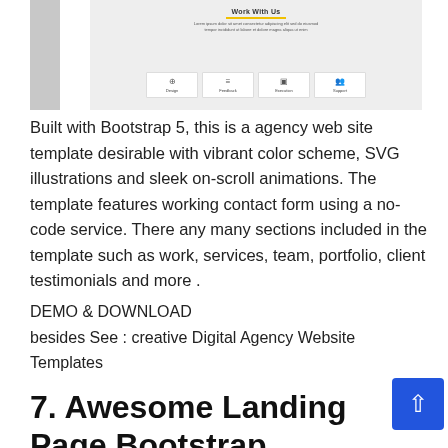[Figure (screenshot): Screenshot of an agency website template showing 'Work With Us' header with yellow underline, subtitle text, and four icon boxes for Design, Feedback, Execution, and Support]
Built with Bootstrap 5, this is a agency web site template desirable with vibrant color scheme, SVG illustrations and sleek on-scroll animations. The template features working contact form using a no-code service. There any many sections included in the template such as work, services, team, portfolio, client testimonials and more .
DEMO & DOWNLOAD
besides See : creative Digital Agency Website Templates
7. Awesome Landing Page Bootstrap